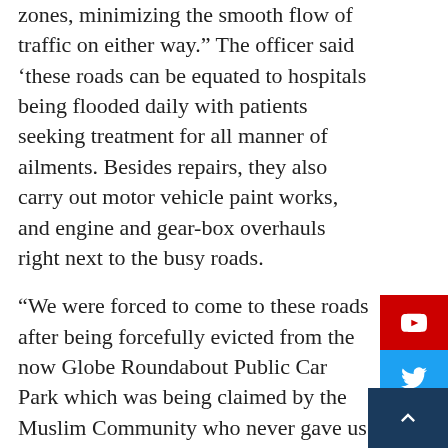zones, minimizing the smooth flow of traffic on either way.” The officer said ‘these roads can be equated to hospitals being flooded daily with patients seeking treatment for all manner of ailments. Besides repairs, they also carry out motor vehicle paint works, and engine and gear-box overhauls right next to the busy roads.
“We were forced to come to these roads after being forcefully evicted from the now Globe Roundabout Public Car Park which was being claimed by the Muslim Community who never gave us adequate notice, to move, says the mechanics’ spokesman Joseph Oriede. We just found the whole area surrounded by battalions of armed police officers. The battle between us and the police began so after because we wanted to recover our tools and customers’ vehicles that were still parked at the